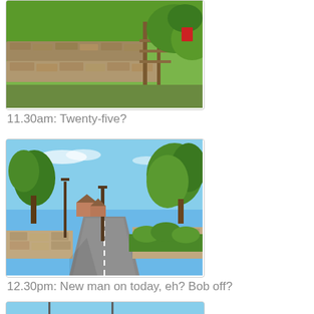[Figure (photo): Rural scene with stone wall, wooden stile/gate, green grass and foliage. Outdoor countryside footpath.]
11.30am: Twenty-five?
[Figure (photo): Suburban road with trees on a sunny day, stone wall on right, houses visible in background, blue sky with wispy clouds.]
12.30pm: New man on today, eh? Bob off?
[Figure (photo): Blue sky with two lamp posts/street lights visible, photographed from below.]